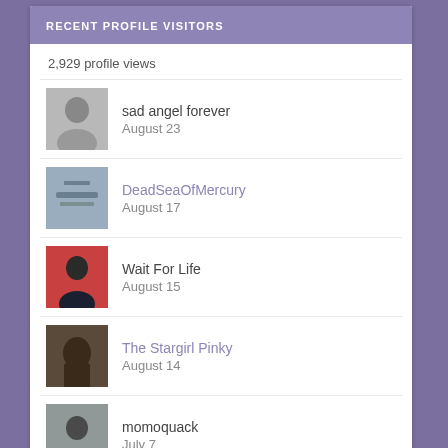RECENT PROFILE VISITORS
2,929 profile views
sad angel forever
August 23
DeadSeaOfMercury
August 17
Wait For Life
August 15
The Stargirl Pinky
August 14
momoquack
July 7
bigspender
March 4